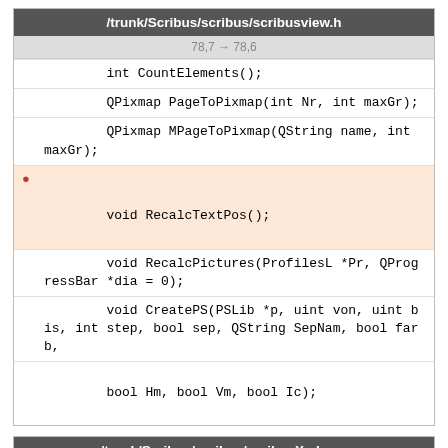/trunk/Scribus/scribus/scribusview.h
78,7 → 78,6
int CountElements();
QPixmap PageToPixmap(int Nr, int maxGr);
QPixmap MPageToPixmap(QString name, int maxGr);
●         void RecalcTextPos();
void RecalcPictures(ProfilesL *Pr, QProgressBar *dia = 0);
void CreatePS(PSLib *p, uint von, uint bis, int step, bool sep, QString SepNam, bool farb,
bool Hm, bool Vm, bool Ic);
/trunk/Scribus/scribus/scribusXml.cpp
3229,6 → 3229,16
dc82.setAttribute("FILE",Vor->PrinterFile);
dc82.setAttribute("COMMAND",V->PrinterCommand);